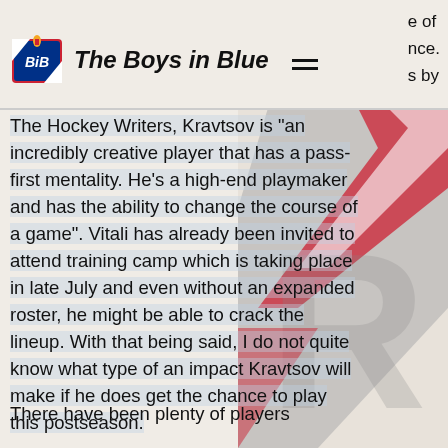The Boys in Blue
The Hockey Writers, Kravtsov is "an incredibly creative player that has a pass-first mentality. He's a high-end playmaker and has the ability to change the course of a game". Vitali has already been invited to attend training camp which is taking place in late July and even without an expanded roster, he might be able to crack the lineup. With that being said, I do not quite know what type of an impact Kravtsov will make if he does get the chance to play this postseason.
There have been plenty of players